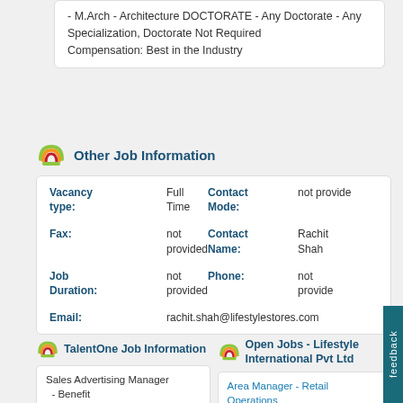- M.Arch - Architecture DOCTORATE - Any Doctorate - Any Specialization, Doctorate Not Required
Compensation: Best in the Industry
Other Job Information
| Field | Value | Field | Value |
| --- | --- | --- | --- |
| Vacancy type: | Full Time | Contact Mode: | not provided |
| Fax: | not provided | Contact Name: | Rachit Shah |
| Job Duration: | not provided | Phone: | not provided |
| Email: | rachit.shah@lifestylestores.com |  |  |
TalentOne Job Information
Sales Advertising Manager
- Benefit Information
Open Jobs - Lifestyle International Pvt Ltd
Area Manager - Retail Operations
Assistant Manager Design for